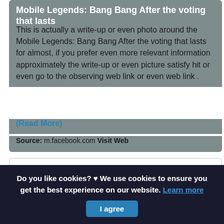Mobile Legends: Bang Bang After the voting that lasts
This is actually a write-up or even photo around the Mobile Legends: Bang Bang After the voting that lasts for almost, if you prefer even more relevant information approximately the write-up or even picture satisfy hit or even go to the observing web link or even web link .
(Read More)
Source: m.facebook.com Visit Web
[Figure (other): Empty white card area below the article card]
Do you like cookies? ♥ We use cookies to ensure you get the best experience on our website. Learn more I agree